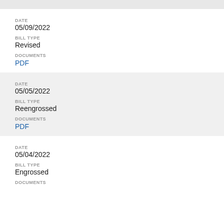DATE
05/09/2022
BILL TYPE
Revised
DOCUMENTS
PDF
DATE
05/05/2022
BILL TYPE
Reengrossed
DOCUMENTS
PDF
DATE
05/04/2022
BILL TYPE
Engrossed
DOCUMENTS